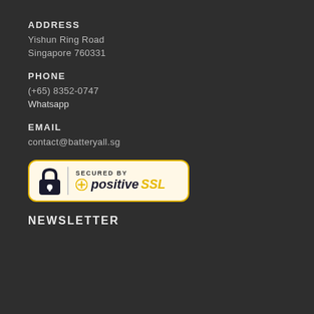ADDRESS
Yishun Ring Road
Singapore 760331
PHONE
(+65) 8352-0747
Whatsapp
EMAIL
contact@batteryall.sg
[Figure (logo): SECURED BY positiveSSL badge with lock icon, yellow border on white/cream background]
NEWSLETTER